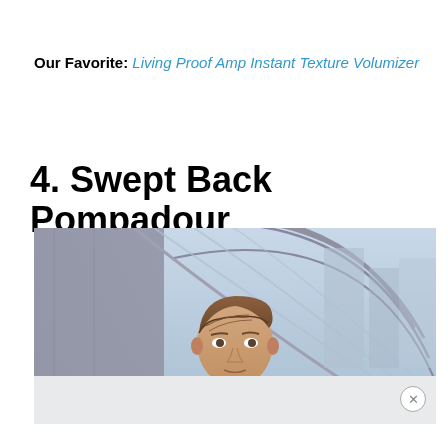Our Favorite: Living Proof Amp Instant Texture Volumizer
4. Swept Back Pompadour
[Figure (photo): A young professional man with a swept back pompadour hairstyle, wearing a dark suit and light blue shirt, standing in front of an architectural glass and steel tunnel/corridor structure with city buildings visible in the background.]